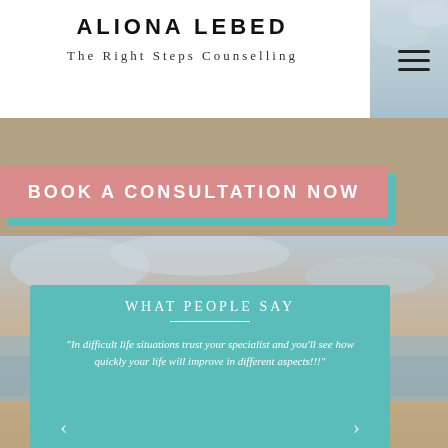ALIONA LEBED
The Right Steps Counselling
[Figure (screenshot): Hamburger menu icon (three horizontal lines) in upper right]
[Figure (photo): Beach/sandy shoreline with ocean waves and cloudy sky in background]
BOOK A CONSULTATION NOW
WHAT PEOPLE SAY
“In difficult life situations trust your specialist and you’ll see how quickly your life will improve in different aspects!!!”